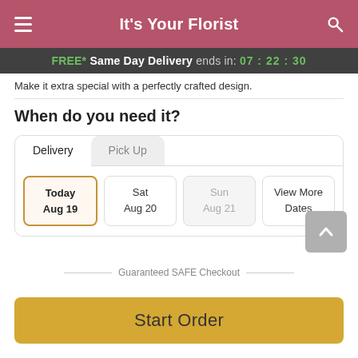It's Your Florist
FREE* Same Day Delivery ends in: 07:22:30
Make it extra special with a perfectly crafted design.
When do you need it?
Delivery | Pick Up
Today Aug 19 | Sat Aug 20 | Sun Aug 21 | View More Dates
Guaranteed SAFE Checkout
Start Order